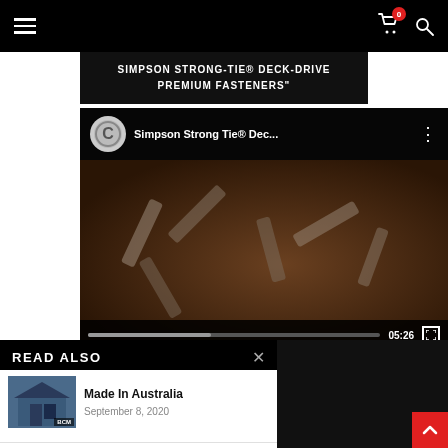Navigation bar with hamburger menu, cart icon (0), search icon
SIMPSON STRONG-TIE® DECK-DRIVE PREMIUM FASTENERS"
[Figure (screenshot): YouTube-style video player showing Simpson Strong Tie® Deck-Drive video with screws thumbnail, duration 05:26]
READ ALSO
Made In Australia
September 8, 2020
Wellbeing And Nature
December 21, 2020
Hamptons A Long Way From Home
November 26, 2020